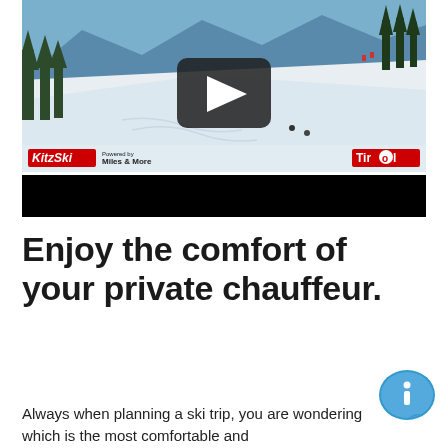[Figure (screenshot): Video thumbnail showing a ski slope winter landscape with mountains, snow, trees, and skiers. Shows KitzSki logo (red background, white italic text), 'Powered by Miles & More' text, and Tirol logo (red background). A large play button overlay is centered on the image.]
[Figure (other): Black rectangular bar below the video thumbnail]
Enjoy the comfort of your private chauffeur.
[Figure (illustration): Blue speech bubble with white italic 'i' information icon]
Always when planning a ski trip, you are wondering which is the most comfortable and